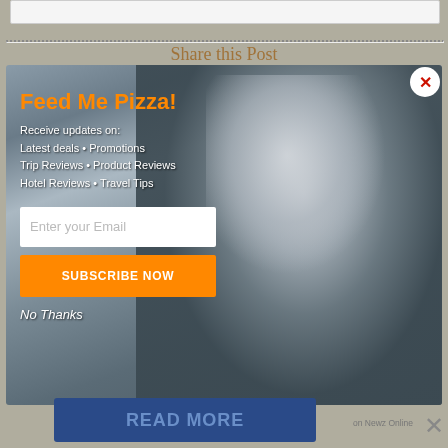Share this Post
[Figure (screenshot): Modal popup overlay with a black-and-white photo of a man wearing glasses, with newsletter subscription form. Contains orange 'Feed Me Pizza!' heading, subscription info text, email input field, orange SUBSCRIBE NOW button, and 'No Thanks' link. Red X close button in top-right corner.]
Feed Me Pizza!
Receive updates on: Latest deals • Promotions Trip Reviews • Product Reviews Hotel Reviews • Travel Tips
Enter your Email
SUBSCRIBE NOW
No Thanks
READ MORE
on Newz Online